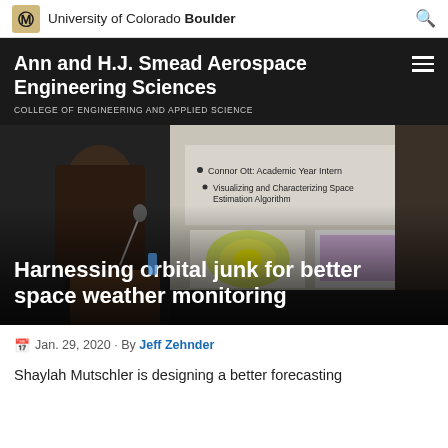University of Colorado Boulder
Ann and H.J. Smead Aerospace Engineering Sciences
COLLEGE OF ENGINEERING AND APPLIED SCIENCE
[Figure (photo): A woman presenting at a podium with a projection screen behind her showing a slide about 'Connor Ott: Academic Year Intern, Visualizing and Characterizing Space Estimation Algorithm'. The slide also displays a colorful scientific visualization. Overlaid on the image is the article title 'Harnessing orbital junk for better space weather monitoring'.]
Jan. 29, 2020 · By Jeff Zehnder
Shaylah Mutschler is designing a better forecasting